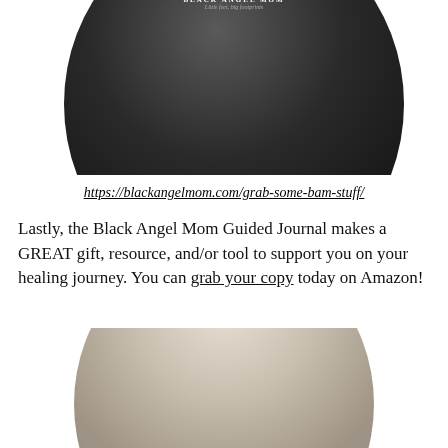[Figure (photo): Circular cropped photo of a dark/black round object (ball or jar lid) with the B.A.M. Black Angel Mom logo in teal and white on top, set against a metallic surface.]
https://blackangelmom.com/grab-some-bam-stuff/
Lastly, the Black Angel Mom Guided Journal makes a GREAT gift, resource, and/or tool to support you on your healing journey. You can grab your copy today on Amazon!
[Figure (photo): Circular cropped photo of a person holding a teal card/booklet that reads 'Black Angel Mom Guided Journal' in white italic script, blurred background.]